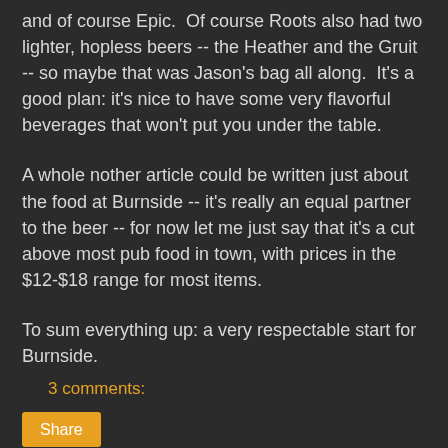and of course Epic.  Of course Roots also had two lighter, hopless beers -- the Heather and the Gruit -- so maybe that was Jason's bag all along.  It's a good plan: it's nice to have some very flavorful beverages that won't put you under the table.
A whole nother article could be written just about the food at Burnside -- it's really an equal partner to the beer -- for now let me just say that it's a cut above most pub food in town, with prices in the $12-$18 range for most items.
To sum everything up: a very respectable start for Burnside.
3 comments:
Share
Friday, February 25, 2011
Pliny the Younger in Portland
[Update (2011/03/08):  From Belmont Station: At 3PM